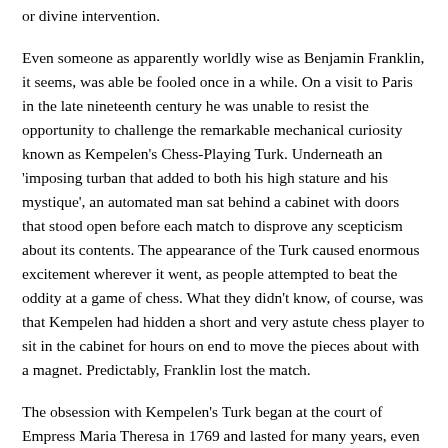or divine intervention.
Even someone as apparently worldly wise as Benjamin Franklin, it seems, was able be fooled once in a while. On a visit to Paris in the late nineteenth century he was unable to resist the opportunity to challenge the remarkable mechanical curiosity known as Kempelen's Chess-Playing Turk. Underneath an 'imposing turban that added to both his high stature and his mystique', an automated man sat behind a cabinet with doors that stood open before each match to disprove any scepticism about its contents. The appearance of the Turk caused enormous excitement wherever it went, as people attempted to beat the oddity at a game of chess. What they didn't know, of course, was that Kempelen had hidden a short and very astute chess player to sit in the cabinet for hours on end to move the pieces about with a magnet. Predictably, Franklin lost the match.
The obsession with Kempelen's Turk began at the court of Empress Maria Theresa in 1769 and lasted for many years, even crossing the Atlantic Ocean. Kempelen made his fortune, which he used to develop a machine that could